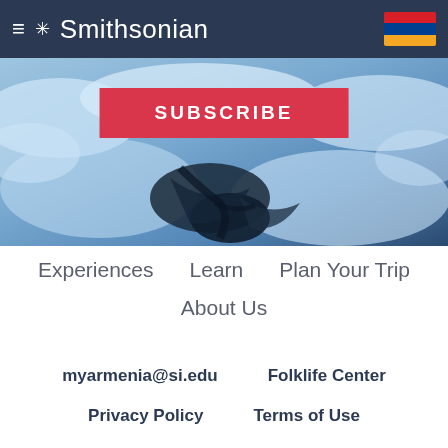≡ ✳ Smithsonian
[Figure (photo): Aerial or landscape view of snowy mountainous terrain with dark valleys and river patterns visible, with a red SUBSCRIBE button overlay]
SUBSCRIBE
Experiences    Learn    Plan Your Trip
About Us
myarmenia@si.edu    Folklife Center
Privacy Policy    Terms of Use